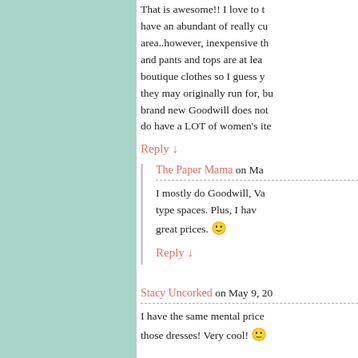That is awesome!! I love to have an abundant of really cu area..however, inexpensive th and pants and tops are at lea boutique clothes so I guess y they may originally run for, bu brand new Goodwill does not do have a LOT of women's ite
Reply ↓
The Paper Mama on Ma
I mostly do Goodwill, Va type spaces. Plus, I hav great prices. 🙂
Reply ↓
Stacy Uncorked on May 9, 20
I have the same mental price those dresses! Very cool! 🙂